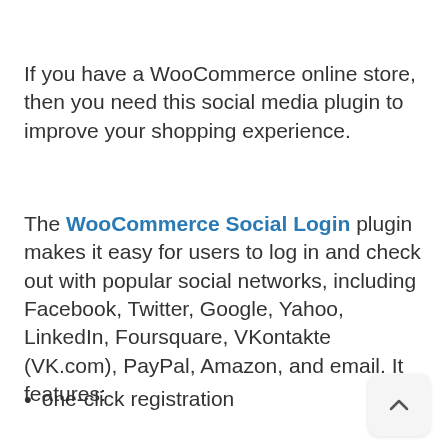If you have a WooCommerce online store, then you need this social media plugin to improve your shopping experience.
The WooCommerce Social Login plugin makes it easy for users to log in and check out with popular social networks, including Facebook, Twitter, Google, Yahoo, LinkedIn, Foursquare, VKontakte (VK.com), PayPal, Amazon, and email. It features:
one-click registration